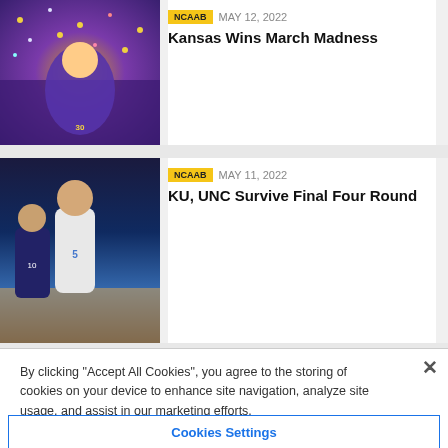[Figure (photo): Basketball celebration photo with players and confetti, purple and gold colors]
NCAAB   MAY 12, 2022
Kansas Wins March Madness
[Figure (photo): Basketball players on court, player wearing jersey number 5 in light blue uniform]
NCAAB   MAY 11, 2022
KU, UNC Survive Final Four Round
By clicking “Accept All Cookies”, you agree to the storing of cookies on your device to enhance site navigation, analyze site usage, and assist in our marketing efforts.
Cookies Settings
Reject All
Accept All Cookies